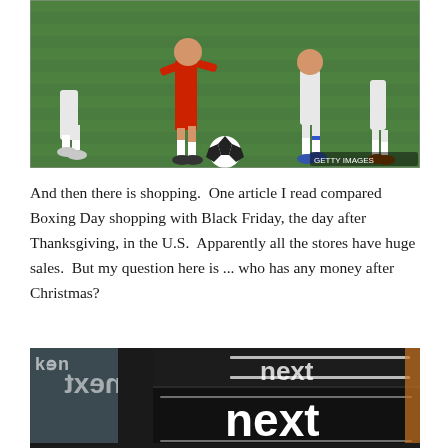[Figure (photo): Soccer players competing for the ball on a green pitch, with players in white and red uniforms. Getty Images watermark visible in bottom right corner.]
And then there is shopping.  One article I read compared Boxing Day shopping with Black Friday, the day after Thanksgiving, in the U.S.  Apparently all the stores have huge sales.  But my question here is ... who has any money after Christmas?
[Figure (photo): A 'Next' store front with large illuminated signs showing the Next retail brand logo in white text on dark background, with glass storefront panels.]